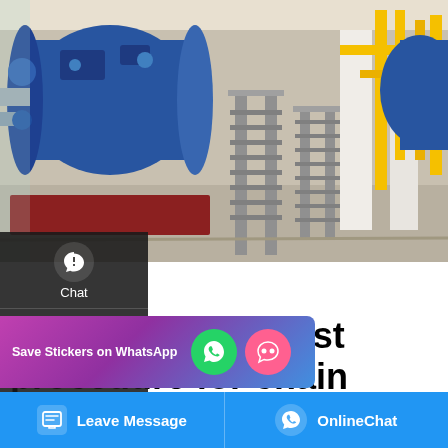[Figure (photo): Industrial boiler room with large blue horizontal steam boiler on the left, yellow piping and white columns visible, metal stairs/walkways, industrial facility interior]
Water pressure test procedure for chain grate boiler
DHL Corner Tube Steam Boiler; SHL Biomass Fuel Bulk Boiler; Case. Solution. Contact Us. Home > Solution. Water pressure test procedure for chain grate boiler. 30 Dec, 2021 (1) The water pressure test should be carried out when the surrounding air
5°C, and antifreeze measures must
ature is
[Figure (screenshot): Save Stickers on WhatsApp promotional banner with green WhatsApp icon and pink emoji icon]
Leave Message
OnlineChat